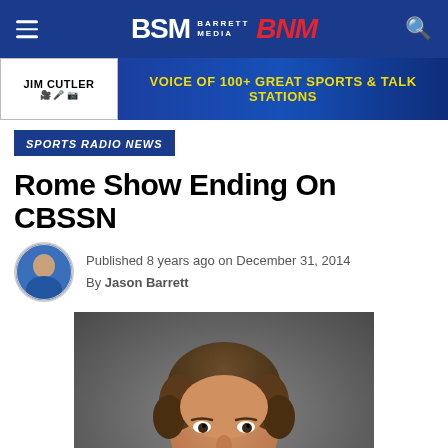BSM Barrett Media BNM
[Figure (advertisement): Jim Cutler - Voice of 100+ Great Sports & Talk Stations advertisement banner]
SPORTS RADIO NEWS
Rome Show Ending On CBSSN
Published 8 years ago on December 31, 2014
By Jason Barrett
[Figure (photo): Headshot photo of a man with curly brown hair and a goatee, against a dark grey background]